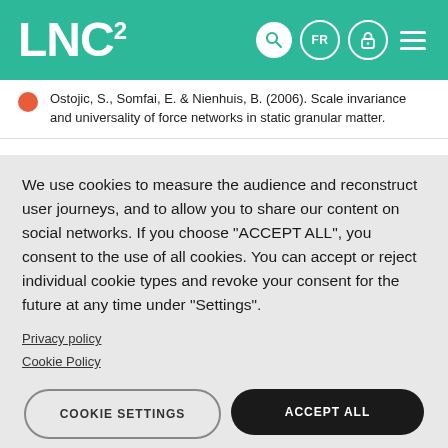LNC²
Ostojic, S., Somfai, E. & Nienhuis, B. (2006). Scale invariance and universality of force networks in static granular matter.
We use cookies to measure the audience and reconstruct user journeys, and to allow you to share our content on social networks. If you choose "ACCEPT ALL", you consent to the use of all cookies. You can accept or reject individual cookie types and revoke your consent for the future at any time under "Settings".
Privacy policy
Cookie Policy
COOKIE SETTINGS
ACCEPT ALL